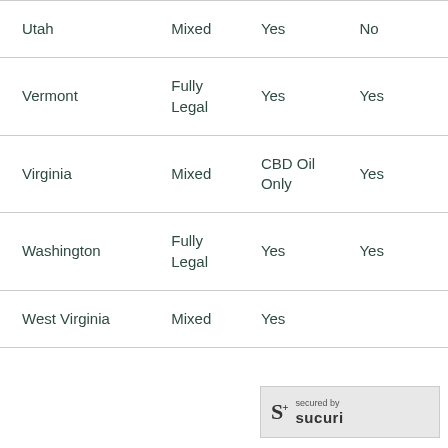| Utah | Mixed | Yes | No |
| Vermont | Fully Legal | Yes | Yes |
| Virginia | Mixed | CBD Oil Only | Yes |
| Washington | Fully Legal | Yes | Yes |
| West Virginia | Mixed | Yes |  |